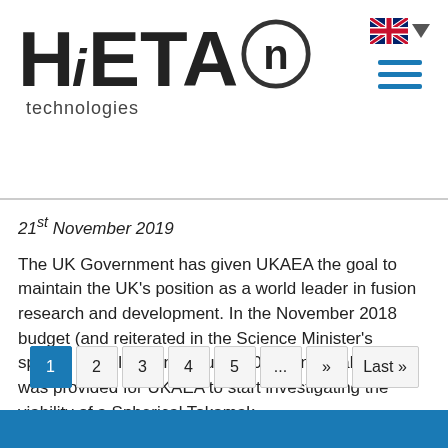[Figure (logo): HiETAn technologies logo — bold HIETA text with circular 'n' symbol and 'technologies' underneath]
21st November 2019
The UK Government has given UKAEA the goal to maintain the UK's position as a world leader in fusion research and development. In the November 2018 budget (and reiterated in the Science Minister's speech at Culham in January 2019) an initial £20m was provided for UKAEA to start investigating the viability of a Spherical Tokamak … Continued